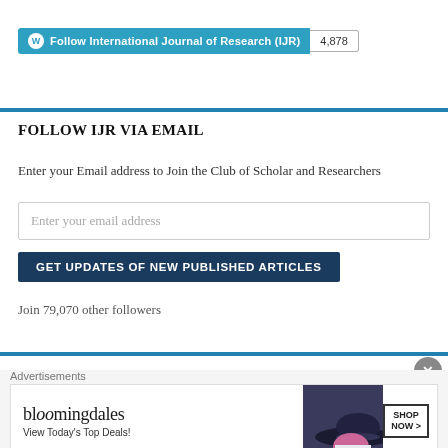Follow International Journal of Research (IJR) 4,878
FOLLOW IJR VIA EMAIL
Enter your Email address to Join the Club of Scholar and Researchers
Enter your email address
GET UPDATES OF NEW PUBLISHED ARTICLES
Join 79,070 other followers
[Figure (other): Bloomingdales advertisement banner with text 'View Today's Top Deals!' and 'SHOP NOW >' button, featuring a woman with a large hat]